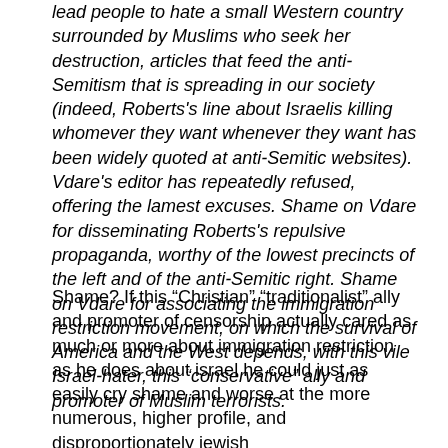lead people to hate a small Western country surrounded by Muslims who seek her destruction, articles that feed the anti-Semitism that is spreading in our society (indeed, Roberts's line about Israelis killing whomever they want whenever they want has been widely quoted at anti-Semitic websites). Vdare's editor has repeatedly refused, offering the lamest excuses. Shame on Vdare for disseminating Roberts's repulsive propaganda, worthy of the lowest precincts of the left and of the anti-Semitic right. Shame on Vdare for associating the immigration restriction movement, on which the survival of America and the West depends, with this vile Israel-hater, this “conservative” ally and promoter of Muslim terrorists.
Shame? If this “Christian” “traditionalist” ally and promoter of censorship actually cared as much or more about immigration restriction as he does about israel he could just as easily cry shame and worse at the more numerous, higher profile, and disproportionately jewish